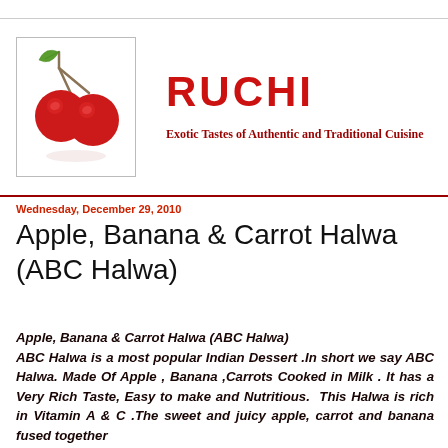[Figure (illustration): Two red cherries with green leaves on a white background, enclosed in a thin-bordered square box]
RUCHI
Exotic Tastes of Authentic and Traditional Cuisine
Wednesday, December 29, 2010
Apple, Banana & Carrot Halwa (ABC Halwa)
Apple, Banana & Carrot Halwa (ABC Halwa)
ABC Halwa is a most popular Indian Dessert .In short we say ABC Halwa. Made Of Apple , Banana ,Carrots Cooked in Milk . It has a Very Rich Taste, Easy to make and Nutritious. This Halwa is rich in Vitamin A & C .The sweet and juicy apple, carrot and banana fused together